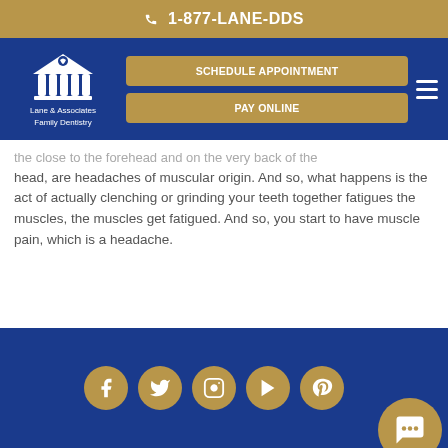1-877-LANE-DDS
[Figure (logo): Lane & Associates Family Dentistry logo with white temple/pillars icon on blue background]
SCHEDULE APPOINTMENT
PAY ONLINE
the close to the forehead and on the very back of the head, are headaches of muscular origin. And so, what happens is the act of actually clenching or grinding your teeth together fatigues the muscles, the muscles get fatigued. And so, you start to have muscle pain, which is a headache.
Social media icons: Facebook, Twitter, Instagram, YouTube, Pinterest, Chat